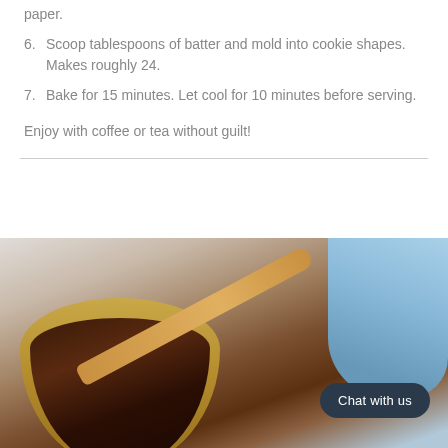paper.
6. Scoop tablespoons of batter and mold into cookie shapes. Makes roughly 24.
7. Bake for 15 minutes. Let cool for 10 minutes before serving.
Enjoy with coffee or tea without guilt!
[Figure (photo): Photo of a yellow bowl with dark chocolate batter being stirred with a wooden spoon, with a blue cloth/napkin in the background. A dark rounded 'Chat with us' button overlay appears in the lower right.]